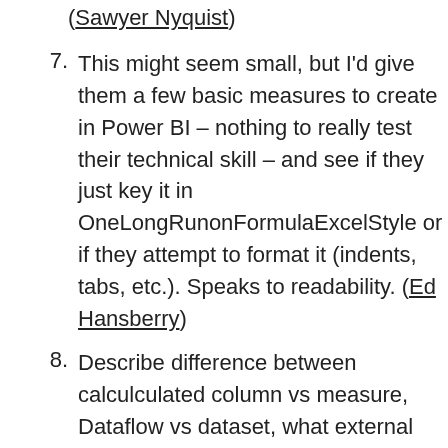(Sawyer Nyquist)
7. This might seem small, but I'd give them a few basic measures to create in Power BI – nothing to really test their technical skill – and see if they just key it in OneLongRunonFormulaExcelStyle or if they attempt to format it (indents, tabs, etc.). Speaks to readability. (Ed Hansberry)
8. Describe difference between calculculated column vs measure, Dataflow vs dataset, what external tools do you use with Power BI? When would you distribute the report as an App vs Report directly, personal gateway vs